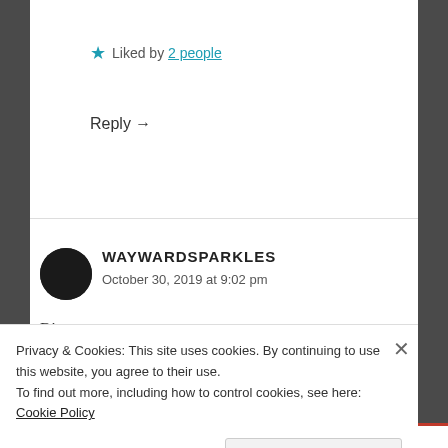★ Liked by 2 people
Reply →
WAYWARDSPARKLES
October 30, 2019 at 9:02 pm
Ritu,
Look at all the love and support you have! You have this in you and you're going to do great.
Privacy & Cookies: This site uses cookies. By continuing to use this website, you agree to their use.
To find out more, including how to control cookies, see here: Cookie Policy
Close and accept